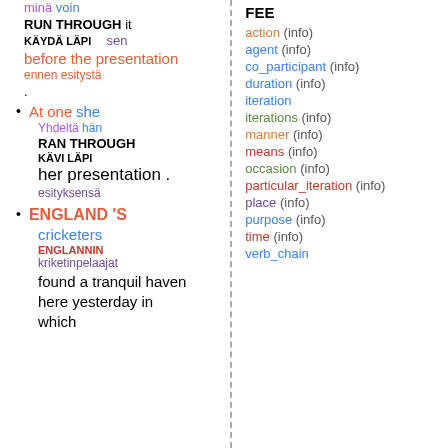minä voin
RUN THROUGH it
KÄYDÄ LÄPI    sen
before the presentation
ennen esitystä
.
At one she
Yhdeltä hän
RAN THROUGH
KÄVI LÄPI
her presentation .
esityksensä
ENGLAND 'S
cricketers
ENGLANNIN
kriketinpelaajat
found a tranquil haven
here yesterday in
which
FEE
action (info)
agent (info)
co_participant (info)
duration (info)
iteration
iterations (info)
manner (info)
means (info)
occasion (info)
particular_iteration (info)
place (info)
purpose (info)
time (info)
verb_chain